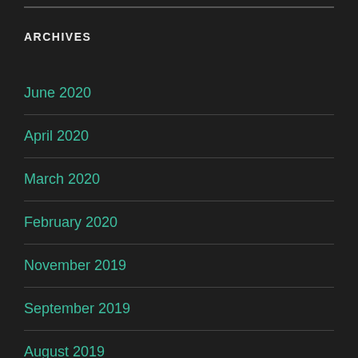ARCHIVES
June 2020
April 2020
March 2020
February 2020
November 2019
September 2019
August 2019